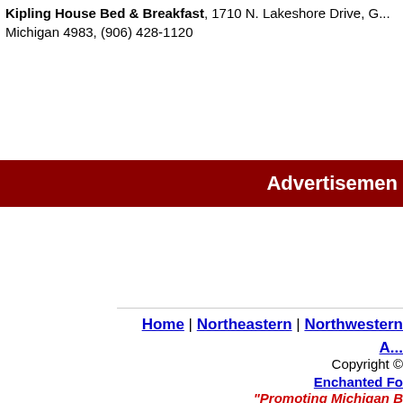Kipling House Bed & Breakfast, 1710 N. Lakeshore Drive, G... Michigan 4983, (906) 428-1120
Advertisement
Home | Northeastern | Northwestern | A...
Copyright ©
Enchanted Fo...
"Promoting Michigan B...